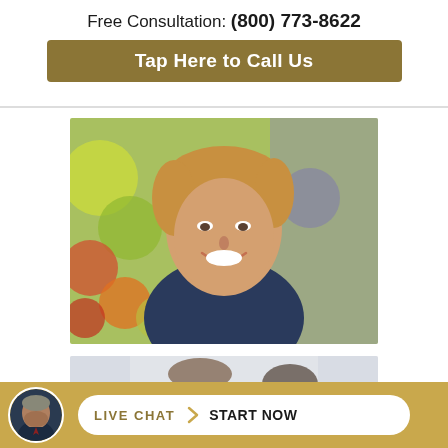Free Consultation: (800) 773-8622
Tap Here to Call Us
[Figure (photo): Young smiling man with blond hair wearing a dark blue shirt, colorful bokeh background]
[Figure (photo): Two people (man and woman) looking at something together, smiling]
[Figure (photo): Avatar/headshot of older man in suit for live chat widget]
LIVE CHAT  START NOW